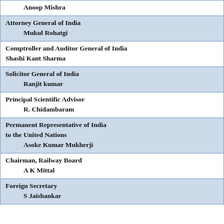| Role | Name |
| --- | --- |
| Anoop Mishra |  |
| Attorney General of India | Mukul Rohatgi |
| Comptroller and Auditor General of India | Shashi Kant Sharma |
| Solicitor General of India | Ranjit kumar |
| Principal Scientific Advisor | R. Chidambaram |
| Permanent Representative of India to the United Nations | Asoke Kumar Mukherji |
| Chairman, Railway Board | A K Mittal |
| Foreign Secretary | S Jaishankar |